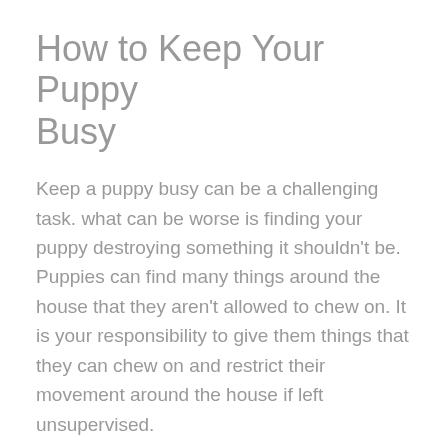How to Keep Your Puppy Busy
Keep a puppy busy can be a challenging task. what can be worse is finding your puppy destroying something it shouldn't be. Puppies can find many things around the house that they aren't allowed to chew on. It is your responsibility to give them things that they can chew on and restrict their movement around the house if left unsupervised.
how to keep your puppy busy when you go out
Whether you are going out for an hour or you